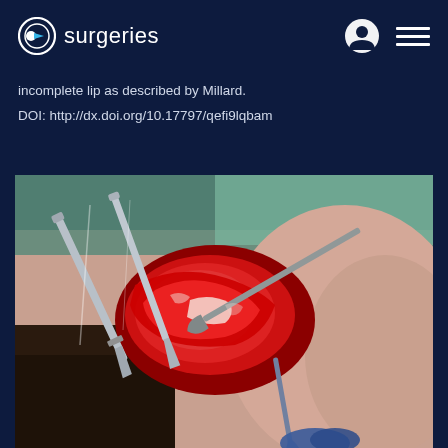surgeries
incomplete lip as described by Millard.
DOI: http://dx.doi.org/10.17797/qefi9lqbam
[Figure (photo): Intraoperative photograph showing surgical repair of incomplete cleft lip. Surgical instruments including forceps and retractors are visible holding tissue. The surgical site shows exposed red tissue and the surrounding skin of an infant's face. Surgical draping (blue/green) is visible in the background.]